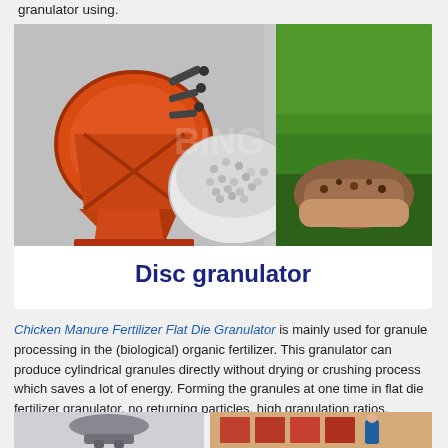granulator using.
[Figure (photo): Composite image showing an orange disc granulator machine on the left, a bowl of white fertilizer granules in the center, green grass and soil held in hands on the right, with caption 'Disc granulator' at the bottom in bold dark blue text.]
Chicken Manure Fertilizer Flat Die Granulator is mainly used for granule processing in the (biological) organic fertilizer. This granulator can produce cylindrical granules directly without drying or crushing process which saves a lot of energy. Forming the granules at one time in flat die fertilizer granulator, no returning particles, high granulation ratios.
[Figure (photo): Bottom-left: a flat die granulator machine. Bottom-right: a worker in blue overalls in a warehouse with stacked bags of fertilizer.]